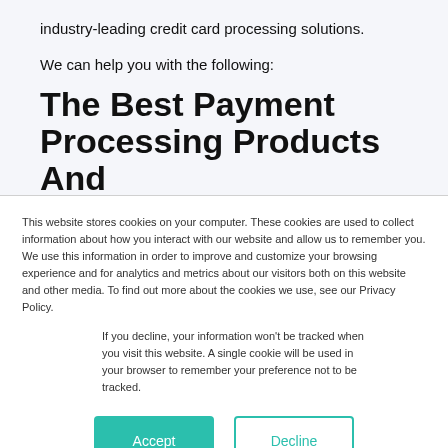industry-leading credit card processing solutions.
We can help you with the following:
The Best Payment Processing Products And
This website stores cookies on your computer. These cookies are used to collect information about how you interact with our website and allow us to remember you. We use this information in order to improve and customize your browsing experience and for analytics and metrics about our visitors both on this website and other media. To find out more about the cookies we use, see our Privacy Policy.
If you decline, your information won't be tracked when you visit this website. A single cookie will be used in your browser to remember your preference not to be tracked.